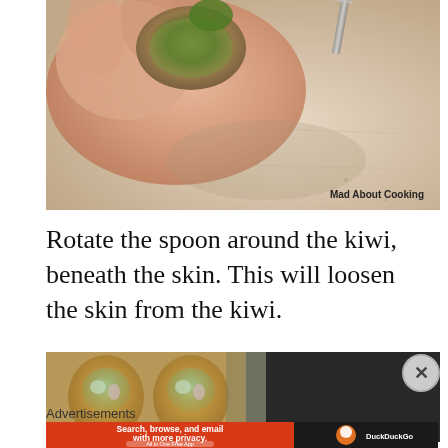[Figure (photo): Close-up photograph of a hand holding a kiwi fruit near a knife on a cutting board, with watermark 'Mad About Cooking' in bottom right corner.]
Rotate the spoon around the kiwi, beneath the skin. This will loosen the skin from the kiwi.
[Figure (photo): Partial photo showing decorated eggs or similar food items, partially obscured by advertisement overlay.]
Advertisements
[Figure (screenshot): DuckDuckGo advertisement banner: 'Search, browse, and email with more privacy. All in One Free App' with DuckDuckGo logo on dark background.]